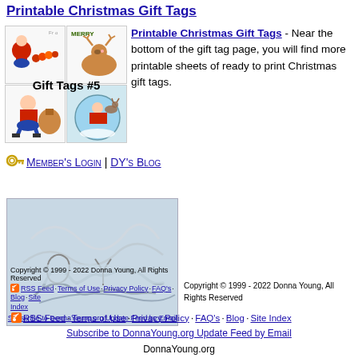Printable Christmas Gift Tags
[Figure (illustration): 2x2 grid of four Christmas gift tag preview images with Gift Tags #5 label overlay]
Printable Christmas Gift Tags - Near the bottom of the gift tag page, you will find more printable sheets of ready to print Christmas gift tags.
Member's Login | DY's Blog
[Figure (illustration): DonnaYoung.org signature/logo image on a light blue-gray background]
Copyright © 1999 - 2022 Donna Young, All Rights Reserved
RSS Feed · Terms of Use · Privacy Policy · FAQ's · Blog · Site Index
Subscribe to DonnaYoung.org Update Feed by Email
DonnaYoung.org